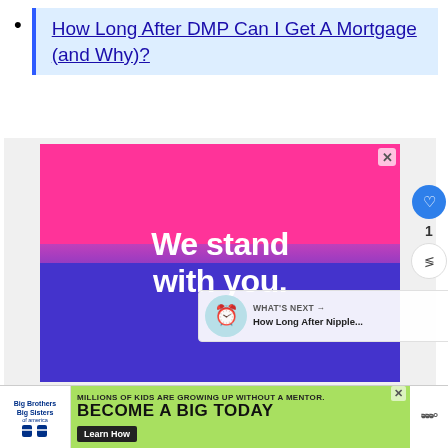How Long After DMP Can I Get A Mortgage (and Why)?
[Figure (screenshot): Advertisement banner reading 'We stand with you.' in white bold text on a split pink and blue/purple gradient background, with a close X button in top right corner.]
WHAT'S NEXT → How Long After Nipple...
[Figure (screenshot): Big Brothers Big Sisters of America advertisement: 'MILLIONS OF KIDS ARE GROWING UP WITHOUT A MENTOR. BECOME A BIG TODAY' with a Learn How button on green background.]